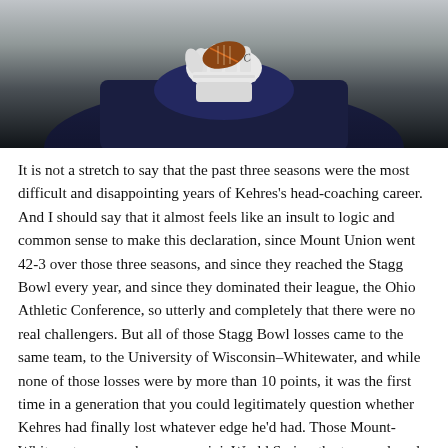[Figure (photo): Close-up photo of a football player's gloved hand holding a football, wearing white gloves with tape, dark jersey visible in background]
It is not a stretch to say that the past three seasons were the most difficult and disappointing years of Kehres's head-coaching career. And I should say that it almost feels like an insult to logic and common sense to make this declaration, since Mount Union went 42-3 over those three seasons, and since they reached the Stagg Bowl every year, and since they dominated their league, the Ohio Athletic Conference, so utterly and completely that there were no real challengers. But all of those Stagg Bowl losses came to the same team, to the University of Wisconsin–Whitewater, and while none of those losses were by more than 10 points, it was the first time in a generation that you could legitimately question whether Kehres had finally lost whatever edge he'd had. Those Mount-Whitewater games became a mini–World Series; the teams played each other in the Stagg Bowl seven straight years, and Kehres won three of the first four. Then came this run of defeat and the impending danger that, for the first time since 1992, a class of